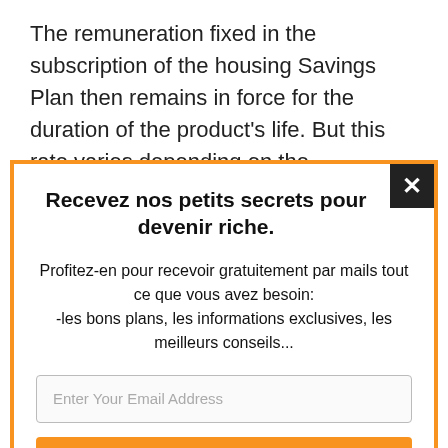The remuneration fixed in the subscription of the housing Savings Plan then remains in force for the duration of the product's life. But this rate varies depending on the
Recevez nos petits secrets pour devenir riche.
Profitez-en pour recevoir gratuitement par mails tout ce que vous avez besoin: -les bons plans, les informations exclusives, les meilleurs conseils...
Enter Your Email Address
J'en profite